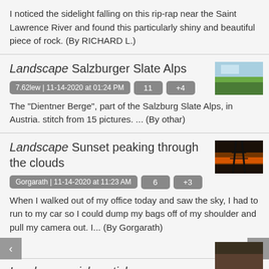I noticed the sidelight falling on this rip-rap near the Saint Lawrence River and found this particularly shiny and beautiful piece of rock. (By RICHARD L.)
Landscape Salzburger Slate Alps
7.62lew | 11-14-2020 at 01:24 PM  11  +4
[Figure (photo): Thumbnail of landscape photo showing green hills and sky]
The "Dientner Berge", part of the Salzburg Slate Alps, in Austria. stitch from 15 pictures. ... (By othar)
Landscape Sunset peaking through the clouds
Gorgarath | 11-14-2020 at 11:23 AM  6  +3
[Figure (photo): Thumbnail of sunset photo showing dark silhouetted trees against orange sky]
When I walked out of my office today and saw the sky, I had to run to my car so I could dump my bags off of my shoulder and pull my camera out. I... (By Gorgarath)
Landscape pick a stick